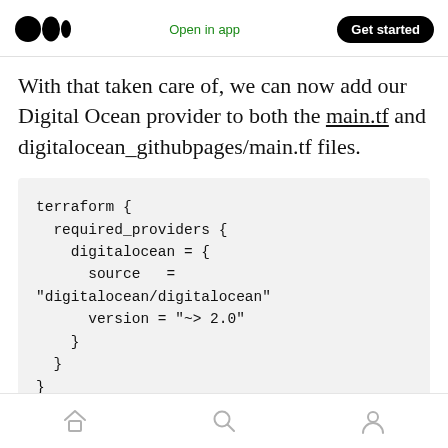Medium logo | Open in app | Get started
With that taken care of, we can now add our Digital Ocean provider to both the main.tf and digitalocean_githubpages/main.tf files.
terraform {
  required_providers {
    digitalocean = {
      source   =
"digitalocean/digitalocean"
      version = "~> 2.0"
    }
  }
}

provider "digitalocean" {
Home | Search | Profile